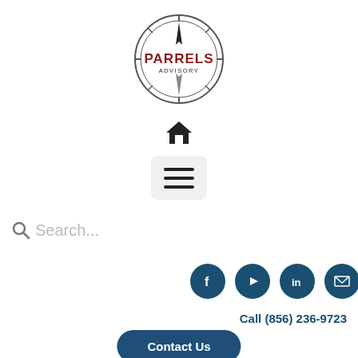[Figure (logo): Parrels Advisory logo: circular compass-style design with 'PARRELS' in dark red and 'ADVISORY' below in small text]
[Figure (illustration): House/home icon in black]
[Figure (illustration): Hamburger menu button with three horizontal lines on grey rounded rectangle background]
Search...
[Figure (illustration): Row of four social media icon circles in dark teal: Facebook, YouTube, LinkedIn, Email/envelope]
Call (856) 236-9723
[Figure (illustration): Contact Us button - dark navy rounded rectangle]
[Figure (photo): Partial bottom image showing a beige/parchment textured surface with a dark red horizontal line]